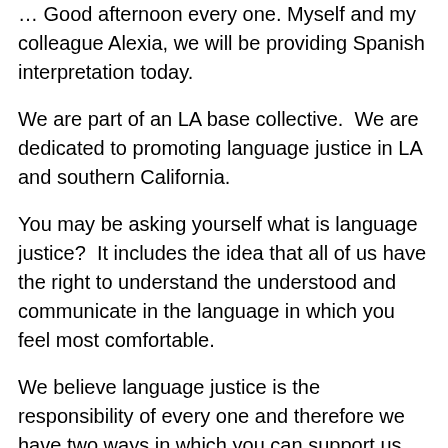… Good afternoon every one. Myself and my colleague Alexia, we will be providing Spanish interpretation today.
We are part of an LA base collective.  We are dedicated to promoting language justice in LA and southern California.
You may be asking yourself what is language justice?  It includes the idea that all of us have the right to understand the understood and communicate in the language in which you feel most comfortable.
We believe language justice is the responsibility of every one and therefore we have two ways in which you can support us during this meeting.